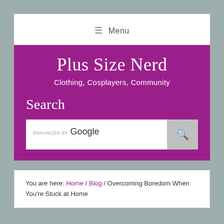≡  Menu
Plus Size Nerd
Clothing, Cosplayers, Community
Search
[Figure (screenshot): Google custom search box with 'ENHANCED BY Google' label and a search button with magnifying glass icon]
You are here: Home / Blog / Overcoming Boredom When You're Stuck at Home